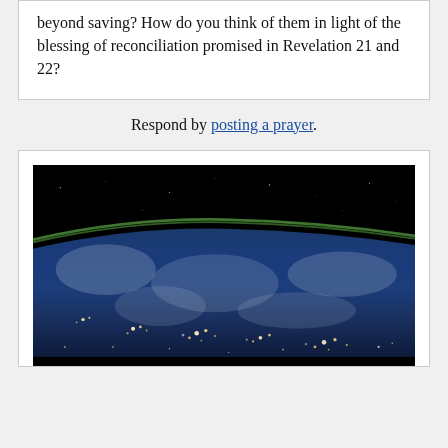beyond saving? How do you think of them in light of the blessing of reconciliation promised in Revelation 21 and 22?
Respond by posting a prayer.
[Figure (photo): Photograph of Earth from space, showing the curved horizon with a thin green atmospheric glow, dark space above with stars, and city lights visible across the planet surface below.]